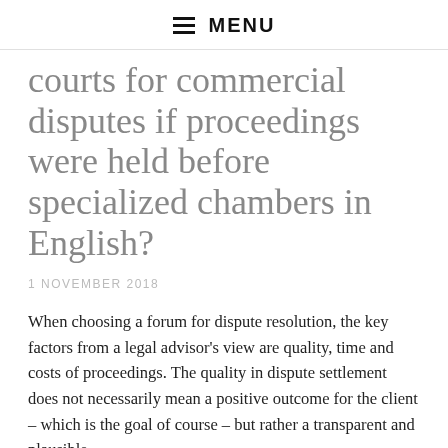MENU
courts for commercial disputes if proceedings were held before specialized chambers in English?
1 NOVEMBER 2018
When choosing a forum for dispute resolution, the key factors from a legal advisor's view are quality, time and costs of proceedings. The quality in dispute settlement does not necessarily mean a positive outcome for the client – which is the goal of course – but rather a transparent and plausible